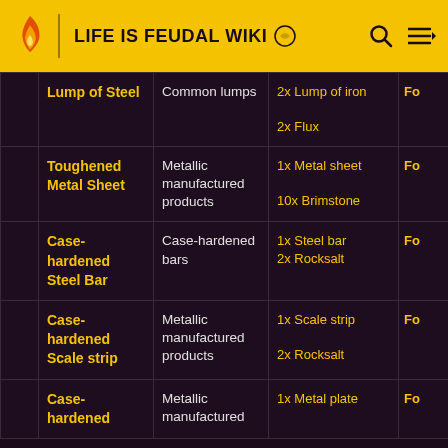LIFE IS FEUDAL WIKI
|  | Item | Category | Ingredients |  |
| --- | --- | --- | --- | --- |
|  | Lump of Steel | Common lumps | 2x Lump of iron
2x Flux | Fo |
|  | Toughened Metal Sheet | Metallic manufactured products | 1x Metal sheet
10x Brimstone | Fo |
|  | Case-hardened Steel Bar | Case-hardened bars | 1x Steel bar
2x Rocksalt | Fo |
|  | Case-hardened Scale strip | Metallic manufactured products | 1x Scale strip
2x Rocksalt | Fo |
|  | Case-hardened | Metallic manufactured | 1x Metal plate | Fo |